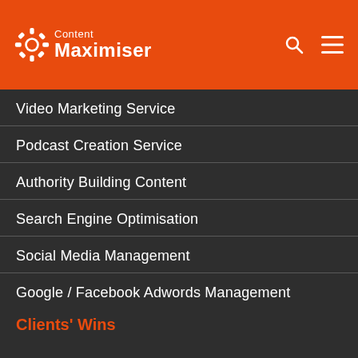Content Maximiser
Video Marketing Service
Podcast Creation Service
Authority Building Content
Search Engine Optimisation
Social Media Management
Google / Facebook Adwords Management
Clients' Wins